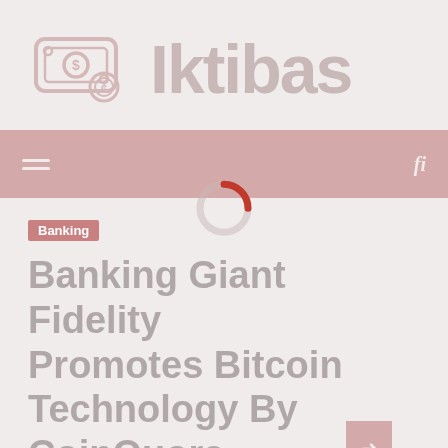[Figure (logo): Iktibas logo with money/dollar bill icon on the left and the text 'Iktibas' on the right in large grey lettering]
Navigation bar with hamburger menu icon and search/filter icon, with a loading spinner in the center
Banking
Banking Giant Fidelity Promotes Bitcoin Technology By CoinQuora